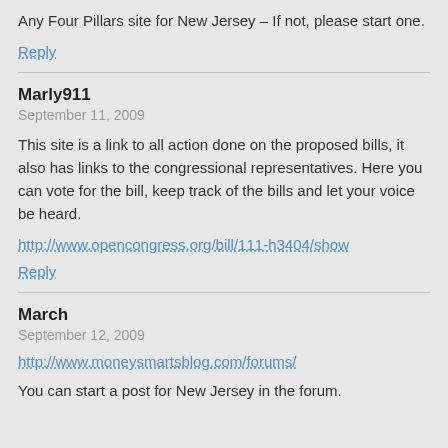Any Four Pillars site for New Jersey – If not, please start one.
Reply
Marly911
September 11, 2009
This site is a link to all action done on the proposed bills, it also has links to the congressional representatives. Here you can vote for the bill, keep track of the bills and let your voice be heard.
http://www.opencongress.org/bill/111-h3404/show
Reply
March
September 12, 2009
http://www.moneysmartsblog.com/forums/
You can start a post for New Jersey in the forum.